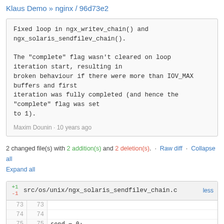Klaus Demo » nginx / 96d73e2
Fixed loop in ngx_writev_chain() and
ngx_solaris_sendfilev_chain().

The "complete" flag wasn't cleared on loop
iteration start, resulting in
broken behaviour if there were more than IOV_MAX
buffers and first
iteration was fully completed (and hence the
"complete" flag was set
to 1).

Maxim Dounin · 10 years ago
2 changed file(s) with 2 addition(s) and 2 deletion(s). · Raw diff · Collapse all · Expand all
| +1
-1 |  | src/os/unix/ngx_solaris_sendfilev_chain.c | less |
| --- | --- | --- | --- |
| 73 | 73 |  |  |
| 74 | 74 |  |  |
| 75 | 75 |  |     send = 0; |
| 76 |  |  |     complete = 0; |